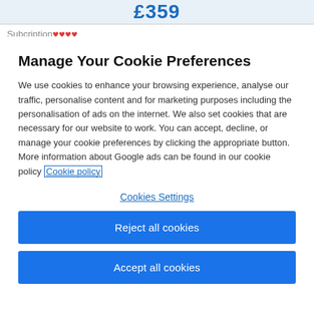£359
Subcription ♥♥♥♥
Manage Your Cookie Preferences
We use cookies to enhance your browsing experience, analyse our traffic, personalise content and for marketing purposes including the personalisation of ads on the internet. We also set cookies that are necessary for our website to work. You can accept, decline, or manage your cookie preferences by clicking the appropriate button. More information about Google ads can be found in our cookie policy Cookie policy
Cookies Settings
Reject all cookies
Accept all cookies